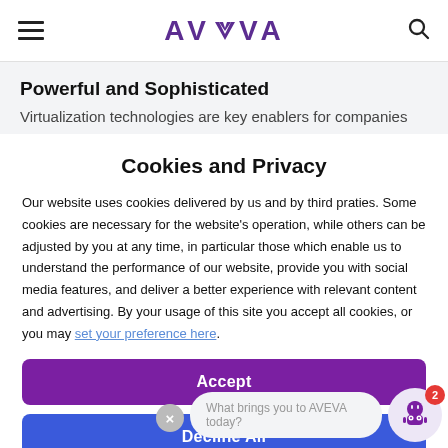AVEVA
Powerful and Sophisticated
Virtualization technologies are key enablers for companies
Cookies and Privacy
Our website uses cookies delivered by us and by third praties. Some cookies are necessary for the website's operation, while others can be adjusted by you at any time, in particular those which enable us to understand the performance of our website, provide you with social media features, and deliver a better experience with relevant content and advertising. By your usage of this site you accept all cookies, or you may set your preference here.
Accept
Decline All
Privacy Policy
Cookie Policy
What brings you to AVEVA today?